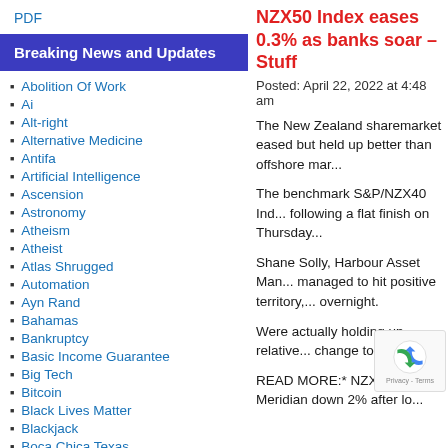PDF
Breaking News and Updates
Abolition Of Work
Ai
Alt-right
Alternative Medicine
Antifa
Artificial Intelligence
Ascension
Astronomy
Atheism
Atheist
Atlas Shrugged
Automation
Ayn Rand
Bahamas
Bankruptcy
Basic Income Guarantee
Big Tech
Bitcoin
Black Lives Matter
Blackjack
Boca Chica Texas
NZX50 Index eases 0.3% as banks soar – Stuff
Posted: April 22, 2022 at 4:48 am
The New Zealand sharemarket eased but held up better than offshore mar...
The benchmark S&P/NZX40 Ind... following a flat finish on Thursday...
Shane Solly, Harbour Asset Man... managed to hit positive territory,... overnight.
Were actually holding up relative... change today.
READ MORE:* NZX5... 0.3%, Meridian down 2% after lo...